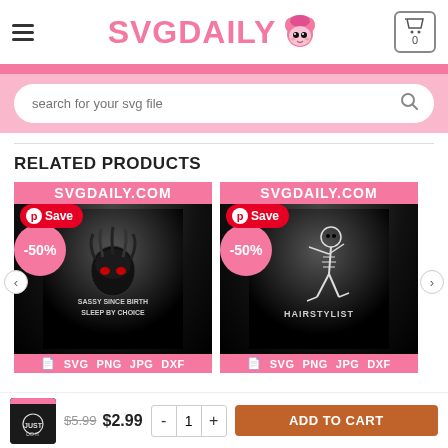SVGDAILY
search for your svg file
RELATED PRODUCTS
[Figure (screenshot): Product card 1: SVGDaily.com branded dark background image with skull/hair character and text 'SASSY SINCE BIRTH SLEEP BY CHOICE', Pinterest Save button, -50% discount badge, SVG PNG JPG DXF format bar]
[Figure (screenshot): Product card 2: SVGDaily.com branded dark background image with dancing skeleton labeled HAIRSTYLIST, Pinterest Save button, -50% discount badge, SVG PNG JPG DXF format bar]
Sassy Since Birth
$5.99  $2.99
ADD TO CART